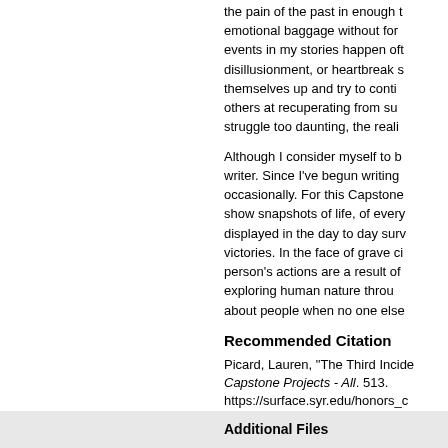the pain of the past in enough t... emotional baggage without for... events in my stories happen oft... disillusionment, or heartbreak s... themselves up and try to conti... others at recuperating from su... struggle too daunting, the reali...
Although I consider myself to b... writer. Since I've begun writing... occasionally. For this Capstone... show snapshots of life, of every... displayed in the day to day surv... victories. In the face of grave ci... person's actions are a result of... exploring human nature throu... about people when no one else...
Recommended Citation
Picard, Lauren, "The Third Incide... Capstone Projects - All. 513. https://surface.syr.edu/honors_c...
Additional Files